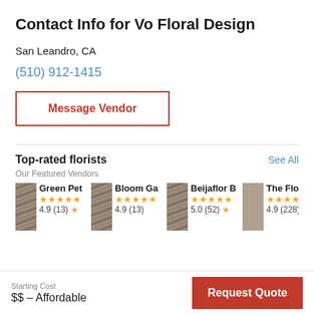Contact Info for Vo Floral Design
San Leandro, CA
(510) 912-1415
Message Vendor
Top-rated florists
See All
Our Featured Vendors
Green Pet
4.9 (13)
Bloom Ga
4.9 (13)
Beijaflor B
5.0 (52)
The Flowe
4.9 (228)
Starting Cost
$$ – Affordable
Request Quote